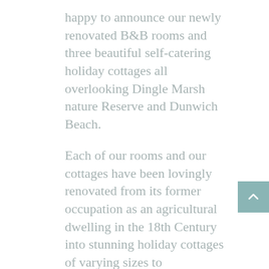happy to announce our newly renovated B&B rooms and three beautiful self-catering holiday cottages all overlooking Dingle Marsh nature Reserve and Dunwich Beach.
Each of our rooms and our cottages have been lovingly renovated from its former occupation as an agricultural dwelling in the 18th Century into stunning holiday cottages of varying sizes to accommodate every type of visitor to this unique part of the world. Still retaining original beams and other historical features our cottages combine country charm with 21st Century convenience to create a perfect place to stay whilst exploring the Suffolk Coast.